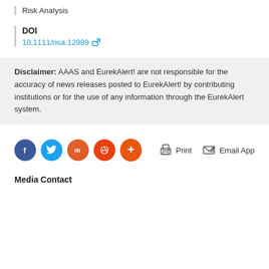Risk Analysis
DOI
10.1111/risa.12989
Disclaimer: AAAS and EurekAlert! are not responsible for the accuracy of news releases posted to EurekAlert! by contributing institutions or for the use of any information through the EurekAlert system.
[Figure (other): Social sharing icons: Facebook, Twitter, Mix, Reddit, More; Print and Email App action buttons]
Media Contact